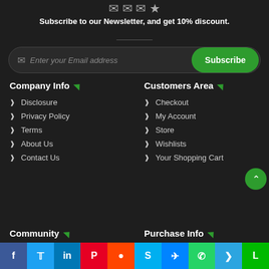Subscribe to our Newsletter, and get 10% discount.
Enter your Email address
Subscribe
Company Info
Customers Area
Disclosure
Privacy Policy
Terms
About Us
Contact Us
Checkout
My Account
Store
Wishlists
Your Shopping Cart
Community
Purchase Info